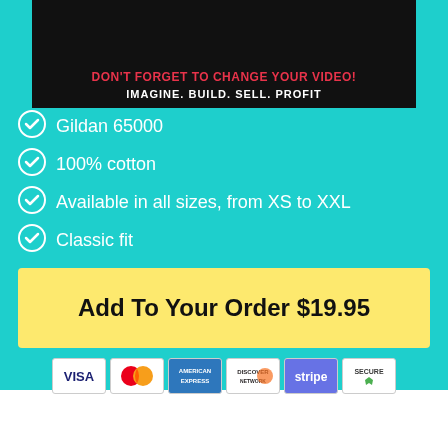[Figure (screenshot): Dark video banner with red text 'DON'T FORGET TO CHANGE YOUR VIDEO!' and white text 'IMAGINE. BUILD. SELL. PROFIT']
Gildan 65000
100% cotton
Available in all sizes, from XS to XXL
Classic fit
Add To Your Order $19.95
[Figure (infographic): Payment method icons: VISA, MasterCard, American Express, Discover, Stripe, Secure]